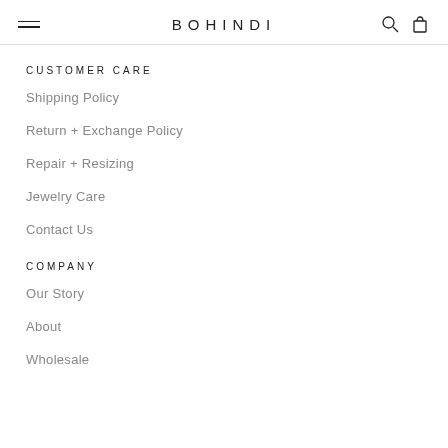BOHINDI
CUSTOMER CARE
Shipping Policy
Return + Exchange Policy
Repair + Resizing
Jewelry Care
Contact Us
COMPANY
Our Story
About
Wholesale